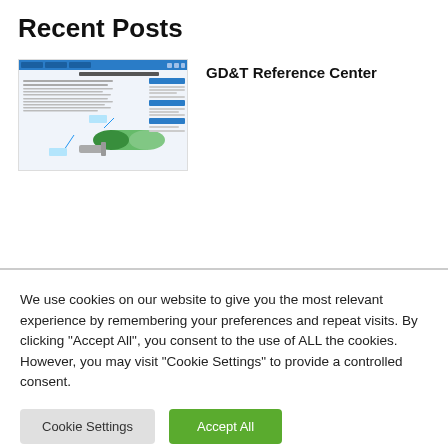Recent Posts
[Figure (screenshot): Thumbnail screenshot of a GD&T reference page showing a webpage with diagrams and text content]
GD&T Reference Center
We use cookies on our website to give you the most relevant experience by remembering your preferences and repeat visits. By clicking "Accept All", you consent to the use of ALL the cookies. However, you may visit "Cookie Settings" to provide a controlled consent.
Cookie Settings
Accept All